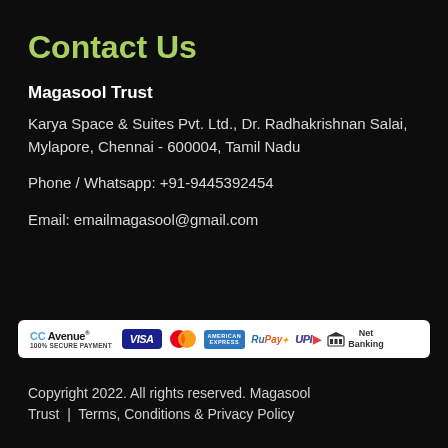Contact Us
Magasool Trust
Karya Space & Suites Pvt. Ltd., Dr. Radhakrishnan Salai, Mylapore, Chennai - 600004, Tamil Nadu
Phone / Whatsapp: +91-9445392454
Email: emailmagasool@gmail.com
[Figure (logo): Payment methods banner: CC Avenue 100% Secure Payment, VISA, Mastercard, American Express, RuPay, UPI, Net Banking]
Copyright 2022. All rights reserved. Magasool Trust  |  Terms, Conditions & Privacy Policy